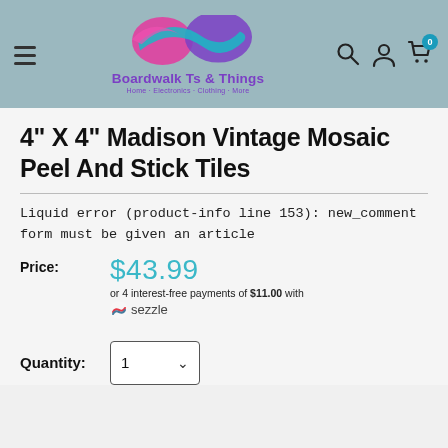[Figure (logo): Boardwalk Ts & Things logo with colorful mustache/wave shape in pink, purple, and teal. Text: 'Boardwalk Ts & Things' in purple, subtitle 'Home - Electronics - Clothing - More' in purple.]
4" X 4" Madison Vintage Mosaic Peel And Stick Tiles
Liquid error (product-info line 153): new_comment form must be given an article
Price: $43.99 or 4 interest-free payments of $11.00 with sezzle
Quantity: 1